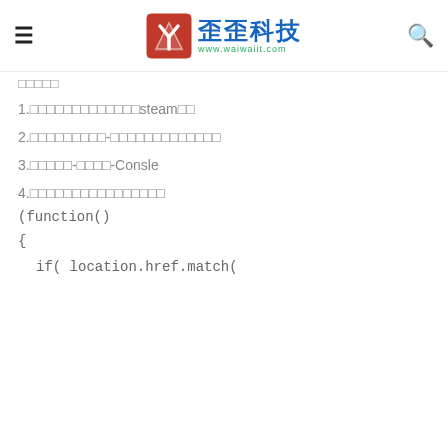歪歪科技 www.waiwaiit.com
□□□□□
1.□□□□□□□□□□□□□steam□□
2.□□□□□□□□□-□□□□□□□□□□□□□
3.□□□□□-□□□□-Consle
4.□□□□□□□□□□□□□□□□
(function()
{
if( location.href.match(